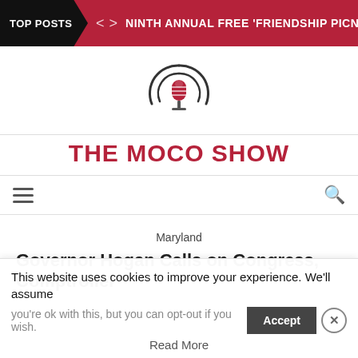TOP POSTS  < >  NINTH ANNUAL FREE 'FRIENDSHIP PICNIC
[Figure (logo): The Moco Show podcast microphone logo with circular signal arcs]
THE MOCO SHOW
Maryland
Governor Hogan Calls on Congress, Comptroller
This website uses cookies to improve your experience. We'll assume you're ok with this, but you can opt-out if you wish.
Read More